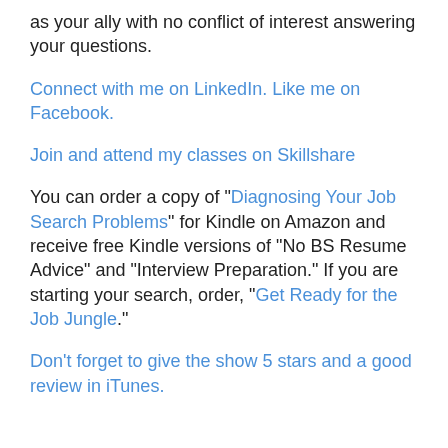as your ally with no conflict of interest answering your questions.
Connect with me on LinkedIn. Like me on Facebook.
Join and attend my classes on Skillshare
You can order a copy of “Diagnosing Your Job Search Problems” for Kindle on Amazon and receive free Kindle versions of “No BS Resume Advice” and “Interview Preparation.” If you are starting your search, order, “Get Ready for the Job Jungle.”
Don’t forget to give the show 5 stars and a good review in iTunes.